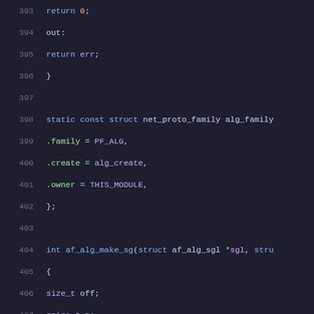[Figure (screenshot): Source code listing in a dark-themed code editor showing C kernel code lines 393-414, with syntax highlighting. Keywords in blue, variables in purple, struct fields in green, punctuation in white/light, line numbers in gray.]